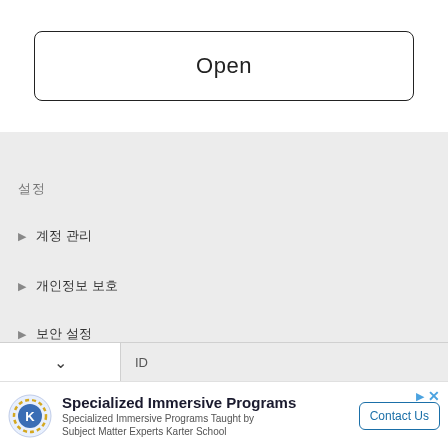Open
설정
▶ 계정 관리
▶ 개인정보 보호
▶ 보안 설정
ID
Specialized Immersive Programs — Specialized Immersive Programs Taught by Subject Matter Experts Karter School — Contact Us